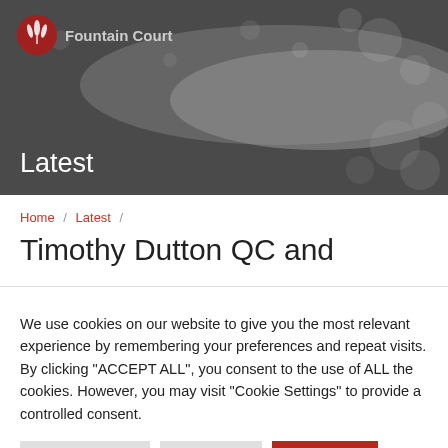[Figure (photo): Greyscale bokeh background with Fountain Court logo and 'Latest' text overlay]
Fountain Court
Latest
Home / Latest /
Timothy Dutton QC and
We use cookies on our website to give you the most relevant experience by remembering your preferences and repeat visits. By clicking "ACCEPT ALL", you consent to the use of ALL the cookies. However, you may visit "Cookie Settings" to provide a controlled consent.